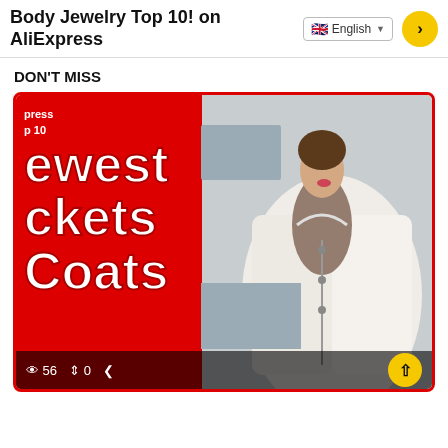Body Jewelry Top 10! on AliExpress
DON'T MISS
[Figure (photo): Thumbnail image showing a promotional banner for 'Newest Jackets Coats' on AliExpress Top 10, featuring a woman wearing a white puffer jacket and brown scarf. Red background on left with large white text reading 'ewest', 'ckets', 'Coats'. View count: 56, share count: 0.]